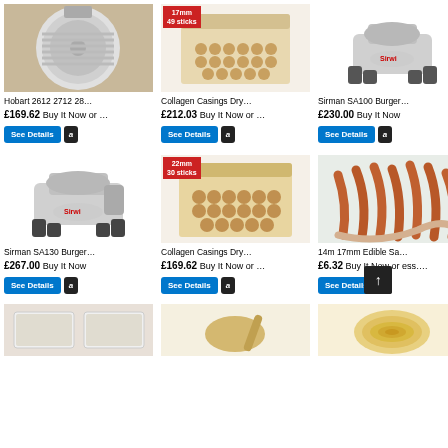[Figure (photo): Hobart meat slicer blade disc, silver metallic circular blade]
Hobart 2612 2712 28…
£169.62 Buy It Now or …
[Figure (photo): Collagen casings dry sticks in a box, 17mm, 49 sticks badge]
Collagen Casings Dry…
£212.03 Buy It Now or …
[Figure (photo): Sirman SA100 burger press machine, silver]
Sirman SA100 Burger…
£230.00 Buy It Now
[Figure (photo): Sirman SA130 burger press machine, silver with black feet]
Sirman SA130 Burger…
£267.00 Buy It Now
[Figure (photo): Collagen casings dry sticks in a box, 22mm, 30 sticks badge]
Collagen Casings Dry…
£169.62 Buy It Now or …
[Figure (photo): 14m 17mm Edible sausage casings hanging in a display]
14m 17mm Edible Sa…
£6.32 Buy It Now or ess….
[Figure (photo): Bottom row partial product image 1 - bags]
[Figure (photo): Bottom row partial product image 2 - scoop]
[Figure (photo): Bottom row partial product image 3 - pasta/noodles]